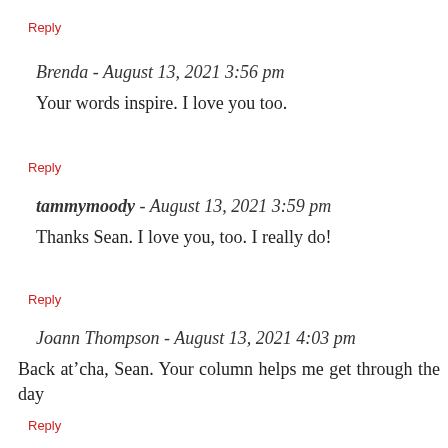Reply
Brenda - August 13, 2021 3:56 pm
Your words inspire. I love you too.
Reply
tammymoody - August 13, 2021 3:59 pm
Thanks Sean. I love you, too. I really do!
Reply
Joann Thompson - August 13, 2021 4:03 pm
Back at’cha, Sean. Your column helps me get through the day
Reply